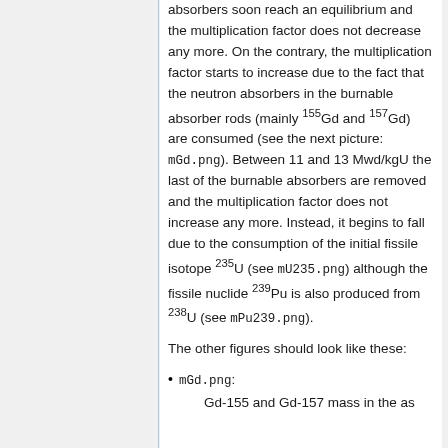absorbers soon reach an equilibrium and the multiplication factor does not decrease any more. On the contrary, the multiplication factor starts to increase due to the fact that the neutron absorbers in the burnable absorber rods (mainly 155Gd and 157Gd) are consumed (see the next picture: mGd.png). Between 11 and 13 Mwd/kgU the last of the burnable absorbers are removed and the multiplication factor does not increase any more. Instead, it begins to fall due to the consumption of the initial fissile isotope 235U (see mU235.png) although the fissile nuclide 239Pu is also produced from 238U (see mPu239.png).
The other figures should look like these:
mGd.png:
Gd-155 and Gd-157 mass in the as...